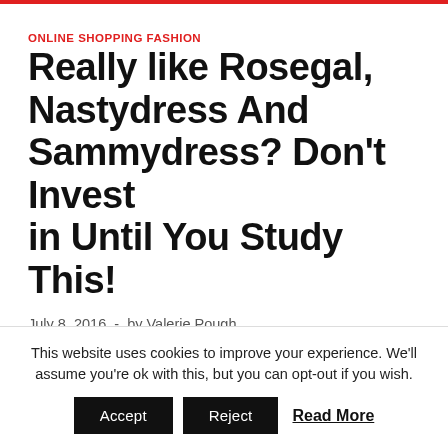ONLINE SHOPPING FASHION
Really like Rosegal, Nastydress And Sammydress? Don't Invest in Until You Study This!
July 8, 2016  -  by Valerie Pough
You will get an e mail and SMS with the tracking particulars as soon as the product is shipped.
This website uses cookies to improve your experience. We'll assume you're ok with this, but you can opt-out if you wish.